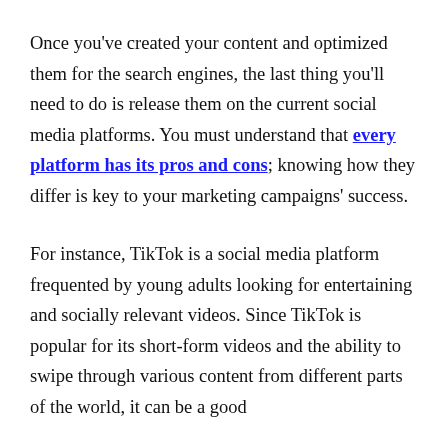Once you've created your content and optimized them for the search engines, the last thing you'll need to do is release them on the current social media platforms. You must understand that every platform has its pros and cons; knowing how they differ is key to your marketing campaigns' success.
For instance, TikTok is a social media platform frequented by young adults looking for entertaining and socially relevant videos. Since TikTok is popular for its short-form videos and the ability to swipe through various content from different parts of the world, it can be a good